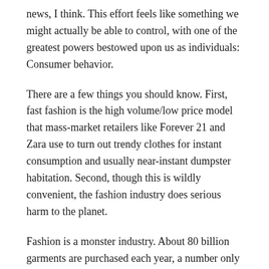news, I think. This effort feels like something we might actually be able to control, with one of the greatest powers bestowed upon us as individuals: Consumer behavior.
There are a few things you should know. First, fast fashion is the high volume/low price model that mass-market retailers like Forever 21 and Zara use to turn out trendy clothes for instant consumption and usually near-instant dumpster habitation. Second, though this is wildly convenient, the fashion industry does serious harm to the planet.
Fashion is a monster industry. About 80 billion garments are purchased each year, a number only projected to grow, and clothing sales grew by five times in the past 25 years. Fashion retailers and manufacturers, who use a quarter of all chemicals produced worldwide, are one of the biggest water wasters in the world and kill 50 million animals annually for